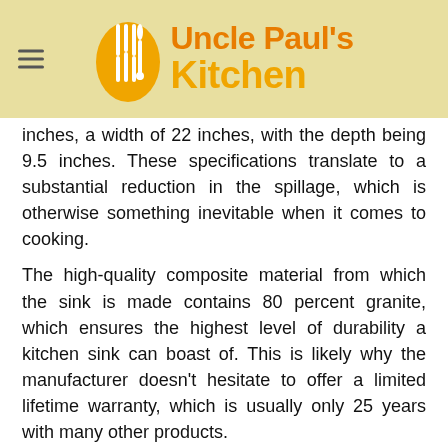Uncle Paul's Kitchen
inches, a width of 22 inches, with the depth being 9.5 inches. These specifications translate to a substantial reduction in the spillage, which is otherwise something inevitable when it comes to cooking.
The high-quality composite material from which the sink is made contains 80 percent granite, which ensures the highest level of durability a kitchen sink can boast of. This is likely why the manufacturer doesn't hesitate to offer a limited lifetime warranty, which is usually only 25 years with many other products.
Incredibly Easy Installation
If you are fairly handy around the house, then the installation of the Kraus KGD-433B sink should be no more than a walk in the park. Even customers with no